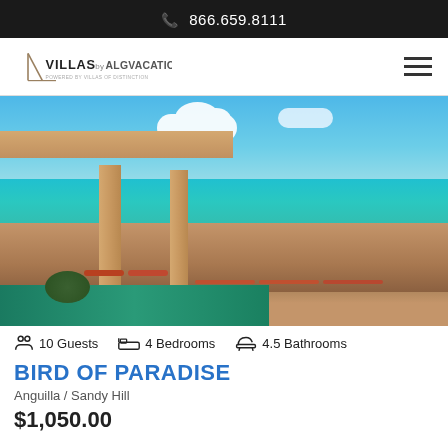📞 866.659.8111
[Figure (logo): Villas by ALG Vacations logo — powered by Villas of Distinction]
[Figure (photo): Luxury villa terrace with columns, outdoor lounge chairs by a pool, overlooking turquoise Caribbean ocean and blue sky]
10 Guests   4 Bedrooms   4.5 Bathrooms
BIRD OF PARADISE
Anguilla / Sandy Hill
$1,050.00